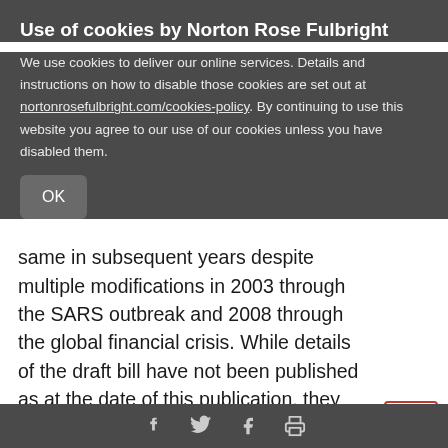Use of cookies by Norton Rose Fulbright
We use cookies to deliver our online services. Details and instructions on how to disable those cookies are set out at nortonrosefulbright.com/cookies-policy. By continuing to use this website you agree to our use of our cookies unless you have disabled them.
same in subsequent years despite multiple modifications in 2003 through the SARS outbreak and 2008 through the global financial crisis. While details of the draft bill have not been published as at the date of this publication, they will likely include a statutory corporate rescue procedure with a statutory moratorium on all legal actions and proceedings against a company for a certain pe while an independent third party (known as the
Social share icons: LinkedIn, Twitter, Facebook, Print